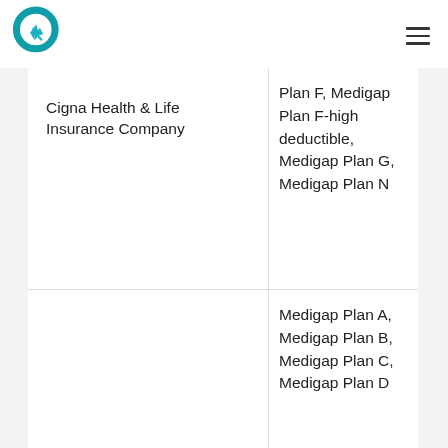| Company | Plans |
| --- | --- |
| Cigna Health & Life Insurance Company | Plan F, Medigap Plan F-high deductible, Medigap Plan G, Medigap Plan N |
|  | Medigap Plan A, Medigap Plan B, Medigap Plan C, Medigap Plan D |